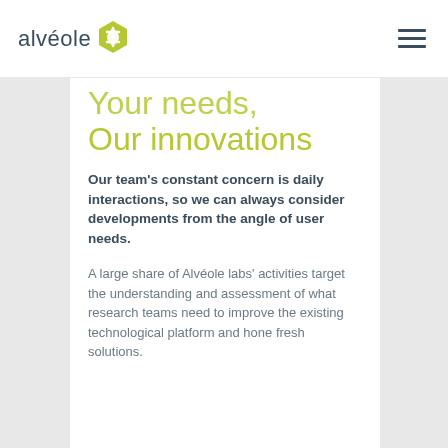alvéole [logo]
Your needs,
Our innovations
Our team's constant concern is daily interactions, so we can always consider developments from the angle of user needs.
A large share of Alvéole labs' activities target the understanding and assessment of what research teams need to improve the existing technological platform and hone fresh solutions.